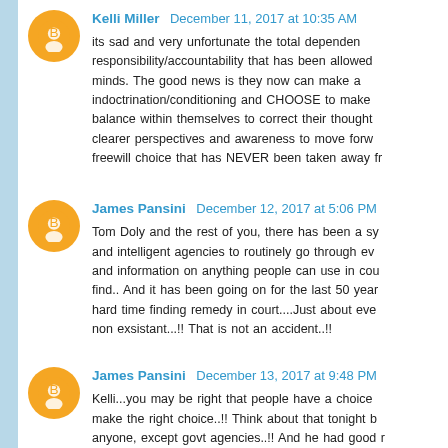Kelli Miller  December 11, 2017 at 10:35 AM
its sad and very unfortunate the total dependence on not taking responsibility/accountability that has been allowed to permeate minds. The good news is they now can make a choice to break the indoctrination/conditioning and CHOOSE to make the changes to balance within themselves to correct their thought processes and gain clearer perspectives and awareness to move forward. It is a freewill choice that has NEVER been taken away fr...
James Pansini  December 12, 2017 at 5:06 PM
Tom Doly and the rest of you, there has been a sy... and intelligent agencies to routinely go through ev... and information on anything people can use in cou... find.. And it has been going on for the last 50 yea... hard time finding remedy in court....Just about ev... non exsistant...!! That is not an accident..!!
James Pansini  December 13, 2017 at 9:48 PM
Kelli...you may be right that people have a choice... make the right choice..!! Think about that tonight b... anyone, except govt agencies..!! And he had good r...